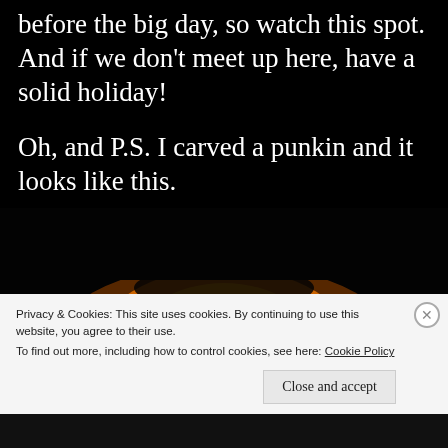before the big day, so watch this spot. And if we don't meet up here, have a solid holiday!
Oh, and P.S. I carved a punkin and it looks like this.
[Figure (photo): A carved pumpkin jack-o-lantern glowing orange in the dark, showing triangular eye cutouts lit from within.]
Privacy & Cookies: This site uses cookies. By continuing to use this website, you agree to their use. To find out more, including how to control cookies, see here: Cookie Policy
Close and accept